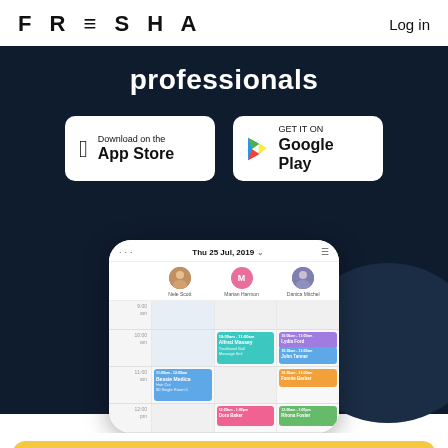FRESHA   Log in
professionals
[Figure (screenshot): App Store and Google Play download buttons on dark background]
[Figure (screenshot): Phone mockup showing Fresha app calendar with staff schedule for Thu 25 Jul, 2019 featuring Nele Scott, Marian Harmon, and Danica Mitchel with color-coded appointments]
[Figure (other): Yellow rounded rectangle bar at bottom of page]